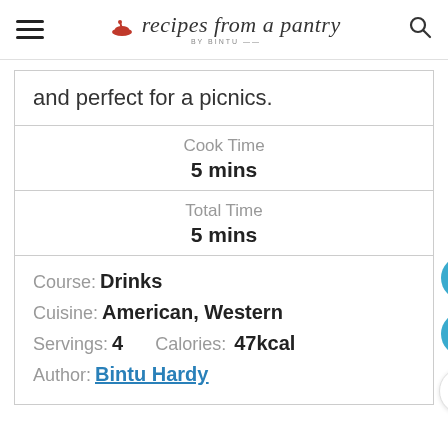recipes from a pantry BY BINTU
and perfect for a picnics.
Cook Time
5 mins
Total Time
5 mins
Course: Drinks
Cuisine: American, Western
Servings: 4    Calories: 47kcal
Author: Bintu Hardy